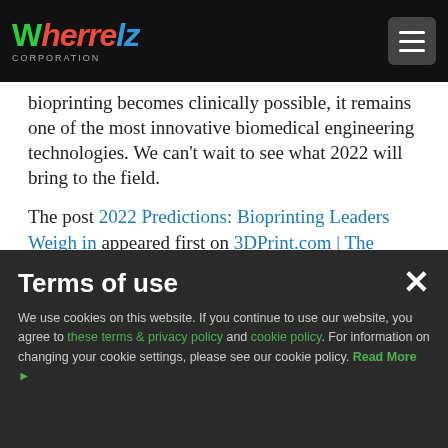Wherrelz Corporation
bioprinting becomes clinically possible, it remains one of the most innovative biomedical engineering technologies. We can't wait to see what 2022 will bring to the field.
The post 2022 Predictions: Bioprinting Leaders Weigh in appeared first on 3DPrint.com | The Voice of 3D Printing / Additive Manufacturing.
Read the Original Article
Terms of use
We use cookies on this website. If you continue to use our website, you agree to these terms & privacy policy and cookie policy. For information on changing your cookie settings, please see our cookie policy. Read More ▶